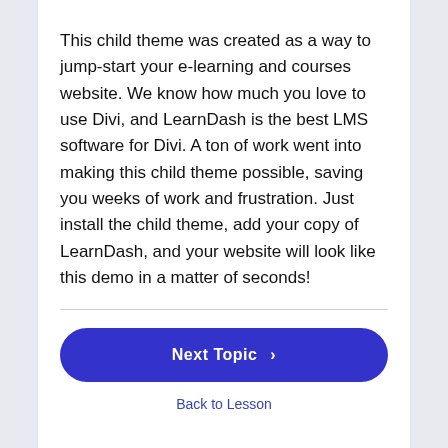This child theme was created as a way to jump-start your e-learning and courses website. We know how much you love to use Divi, and LearnDash is the best LMS software for Divi. A ton of work went into making this child theme possible, saving you weeks of work and frustration. Just install the child theme, add your copy of LearnDash, and your website will look like this demo in a matter of seconds!
Next Topic >
Back to Lesson